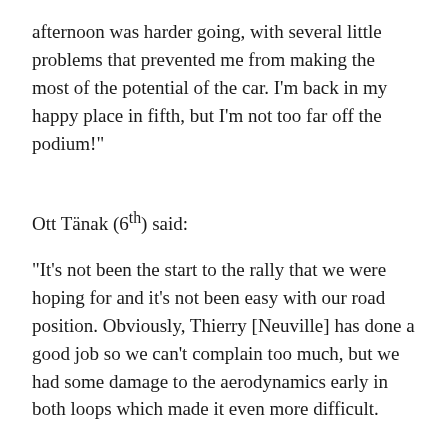afternoon was harder going, with several little problems that prevented me from making the most of the potential of the car. I'm back in my happy place in fifth, but I'm not too far off the podium!"
Ott Tänak (6th) said:
"It's not been the start to the rally that we were hoping for and it's not been easy with our road position. Obviously, Thierry [Neuville] has done a good job so we can't complain too much, but we had some damage to the aerodynamics early in both loops which made it even more difficult.